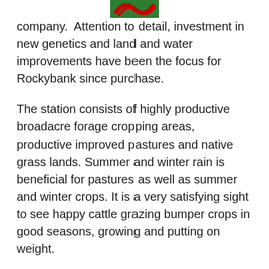[Figure (logo): Red and green logo/emblem partially visible at top center of page]
company.  Attention to detail, investment in new genetics and land and water improvements have been the focus for Rockybank since purchase.
The station consists of highly productive broadacre forage cropping areas, productive improved pastures and native grass lands. Summer and winter rain is beneficial for pastures as well as summer and winter crops. It is a very satisfying sight to see happy cattle grazing bumper crops in good seasons, growing and putting on weight.
The station is usually staffed by a manager and two other employees who take great pride in our work, not only at Rockybank but also on the adjacent Holyrood and South Maffra properties where we raise purebred Wagyu cattle, including Wagyu bulls destined for northern breeder herds. The staff are at the heart of all that happens. We pride ourselves on good stockmanship and presenting bulls to the